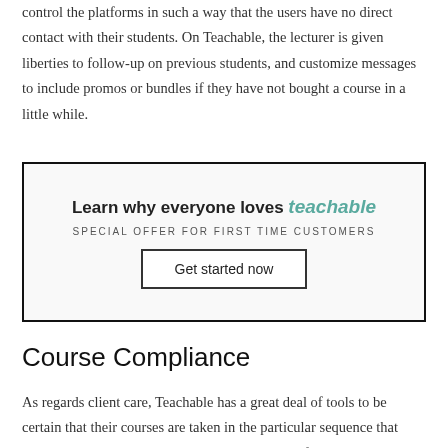control the platforms in such a way that the users have no direct contact with their students. On Teachable, the lecturer is given liberties to follow-up on previous students, and customize messages to include promos or bundles if they have not bought a course in a little while.
[Figure (infographic): Teachable promotional banner with text 'Learn why everyone loves teachable', 'SPECIAL OFFER FOR FIRST TIME CUSTOMERS', and a 'Get started now' button inside a bordered box.]
Course Compliance
As regards client care, Teachable has a great deal of tools to be certain that their courses are taken in the particular sequence that they intended, and that their clients get the most from what they